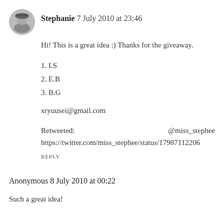[Figure (illustration): Circular avatar image of Stephanie, showing a person in a hat, black and white style]
Stephanie 7 July 2010 at 23:46
Hi! This is a great idea :) Thanks for the giveaway.
1. I.S
2. E.B
3. B.G
xryuusei@gmail.com
Retweeted:                                          @miss_stephee
https://twitter.com/miss_stephee/status/17987112206
REPLY
Anonymous 8 July 2010 at 00:22
Such a great idea!
My email is bonjourcocoandaudrey@gmail.com
my preference would be